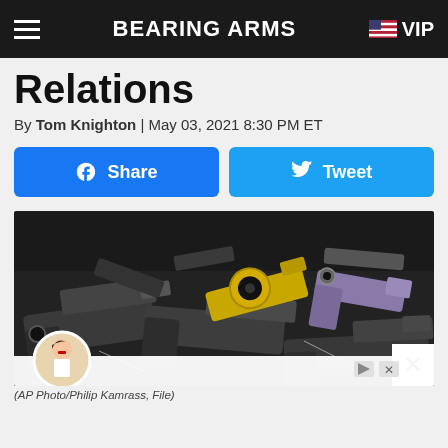BEARING ARMS | VIP
Relations
By Tom Knighton | May 03, 2021 8:30 PM ET
[Figure (screenshot): Facebook Share button and Twitter Tweet button]
[Figure (photo): Multiple handguns and pistols spread on a dark surface, including a yellow revolver and a purple handgun. Photo credit: AP Photo/Philip Kamrass, File]
(AP Photo/Philip Kamrass, File)